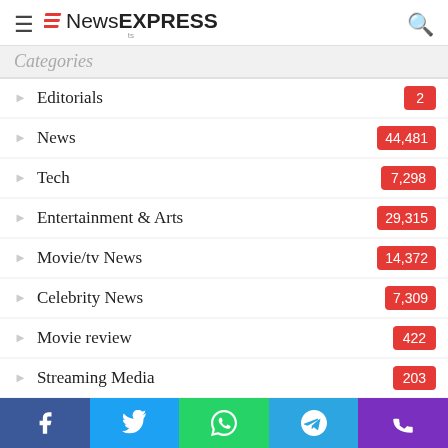NewsEXPRESS
Categories
Editorials 2
News 44,481
Tech 7,298
Entertainment & Arts 29,315
Movie/tv News 14,372
Celebrity News 7,309
Movie review 422
Streaming Media 203
USA 5,890
Washington
Facebook Twitter WhatsApp Telegram Phone